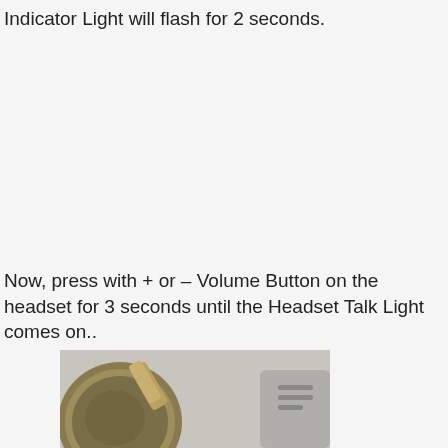Indicator Light will flash for 2 seconds.
Now, press with + or – Volume Button on the headset for 3 seconds until the Headset Talk Light comes on..
[Figure (photo): Close-up photograph of a gold/brass colored headset device against a light gray background, showing part of the headset ear cup and connector/arm.]